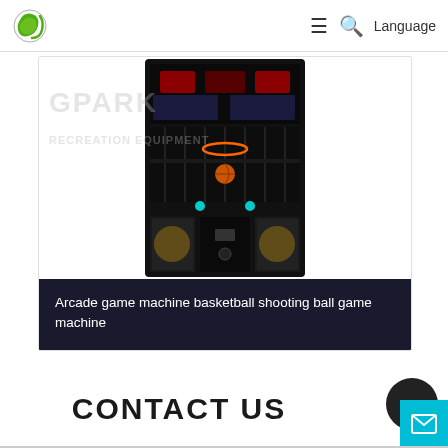[Figure (logo): Green leaf/swirl logo icon]
≡  🔍  Language
[Figure (photo): Arcade game machine basketball shooting ball game machine — a tall black arcade cabinet with display screen, cage hoop area, and colorful side panels. Watermark text GPARK RECREATION EQUIPMENT visible.]
Arcade game machine basketball shooting ball game machine
CONTACT US
Top
[Figure (illustration): Email/envelope icon on cyan background button]